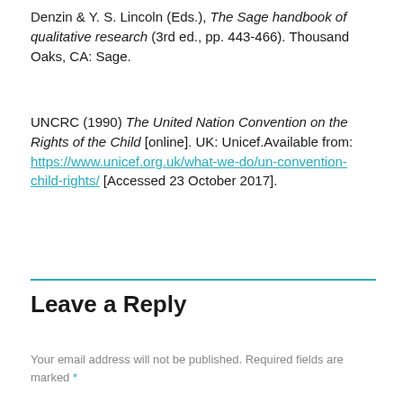Denzin & Y. S. Lincoln (Eds.), The Sage handbook of qualitative research (3rd ed., pp. 443-466). Thousand Oaks, CA: Sage.
UNCRC (1990) The United Nation Convention on the Rights of the Child [online]. UK: Unicef.Available from: https://www.unicef.org.uk/what-we-do/un-convention-child-rights/ [Accessed 23 October 2017].
Leave a Reply
Your email address will not be published. Required fields are marked *